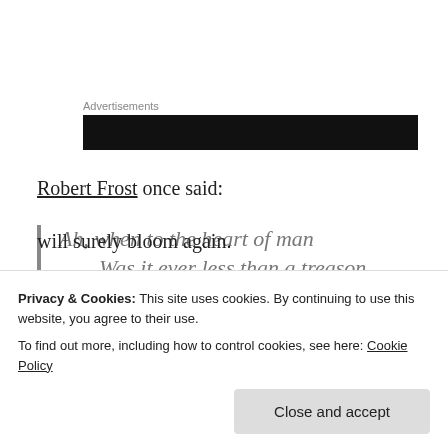Advertisements
[Figure (other): Black advertisement banner block]
Robert Frost once said:
Ah, when to the heart of man
    Was it ever less than a treason
To go with the drift of things,
    To yield with a grace to reason
will surely bloom again.
Privacy & Cookies: This site uses cookies. By continuing to use this website, you agree to their use.
To find out more, including how to control cookies, see here: Cookie Policy